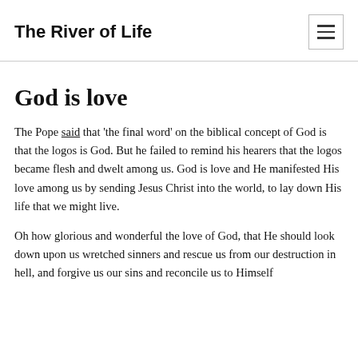The River of Life
God is love
The Pope said that 'the final word' on the biblical concept of God is that the logos is God. But he failed to remind his hearers that the logos became flesh and dwelt among us. God is love and He manifested His love among us by sending Jesus Christ into the world, to lay down His life that we might live.
Oh how glorious and wonderful the love of God, that He should look down upon us wretched sinners and rescue us from our destruction in hell, and forgive us our sins and reconcile us to Himself